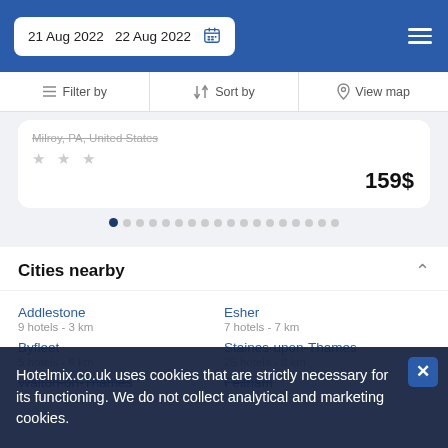21 Aug 2022  22 Aug 2022
Filter by  Sort by  View map
Milroy, PA, United States
★★★
159$
Cities nearby
Addlestone
9 hotels - 3 km
Esher
7 hotels - 7 km
Byfleet
5 hotels - 6 km
Staines-upon-Thames
25 hotels - 8 km
Walton-on-Thames
Feltham
Hotelmix.co.uk uses cookies that are strictly necessary for its functioning. We do not collect analytical and marketing cookies.